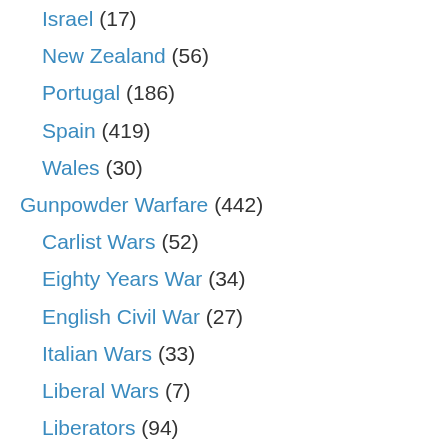Israel (17)
New Zealand (56)
Portugal (186)
Spain (419)
Wales (30)
Gunpowder Warfare (442)
Carlist Wars (52)
Eighty Years War (34)
English Civil War (27)
Italian Wars (33)
Liberal Wars (7)
Liberators (94)
Napoleonic Wars (49)
Peninsular War (40)